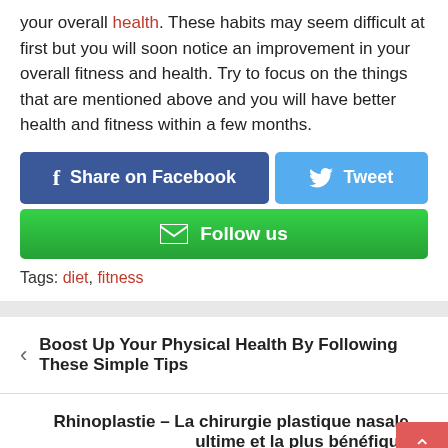your overall health. These habits may seem difficult at first but you will soon notice an improvement in your overall fitness and health. Try to focus on the things that are mentioned above and you will have better health and fitness within a few months.
[Figure (infographic): Social sharing buttons: Share on Facebook (dark blue), Tweet (light blue), Follow us (green with envelope icon)]
Tags: diet, fitness
< Boost Up Your Physical Health By Following These Simple Tips
Rhinoplastie – La chirurgie plastique nasale ultime et la plus bénéfique >